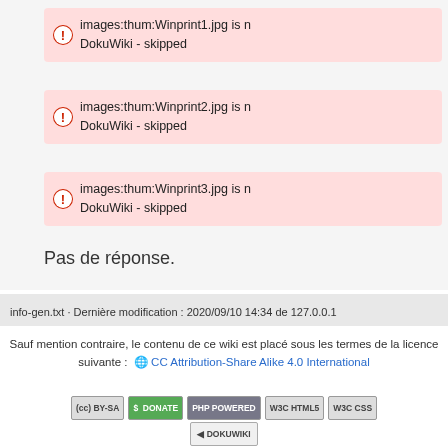images:thum:Winprint1.jpg is not readable by DokuWiki - skipped
images:thum:Winprint2.jpg is not readable by DokuWiki - skipped
images:thum:Winprint3.jpg is not readable by DokuWiki - skipped
Pas de réponse.
info-gen.txt · Dernière modification : 2020/09/10 14:34 de 127.0.0.1
Sauf mention contraire, le contenu de ce wiki est placé sous les termes de la licence suivante :  CC Attribution-Share Alike 4.0 International